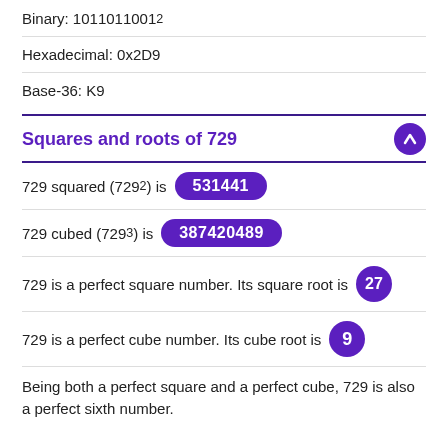Binary: 1011011001₂
Hexadecimal: 0x2D9
Base-36: K9
Squares and roots of 729
729 squared (729²) is 531441
729 cubed (729³) is 387420489
729 is a perfect square number. Its square root is 27
729 is a perfect cube number. Its cube root is 9
Being both a perfect square and a perfect cube, 729 is also a perfect sixth number.